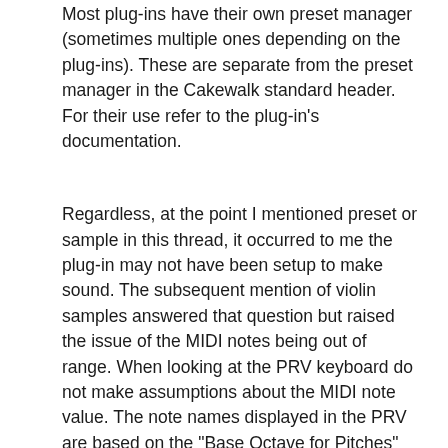Most plug-ins have their own preset manager (sometimes multiple ones depending on the plug-ins). These are separate from the preset manager in the Cakewalk standard header. For their use refer to the plug-in's documentation.
Regardless, at the point I mentioned preset or sample in this thread, it occurred to me the plug-in may not have been setup to make sound. The subsequent mention of violin samples answered that question but raised the issue of the MIDI notes being out of range. When looking at the PRV keyboard do not make assumptions about the MIDI note value. The note names displayed in the PRV are based on the "Base Octave for Pitches" setting. Cakewalk starts with MIDI note 0 being C0. This means MIDI note 48 is C4. If you want C4 to play MIDI note 60 the "Base Octave for Pitches" needs to be set to -1.